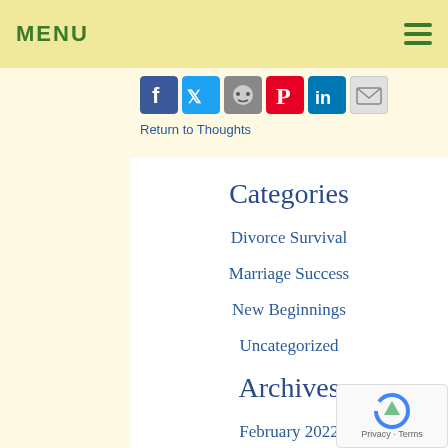MENU
[Figure (other): Social sharing icons: Facebook, Twitter, Reddit, Pinterest, LinkedIn, Email]
Return to Thoughts
Categories
Divorce Survival
Marriage Success
New Beginnings
Uncategorized
Archives
February 2022
January 2022